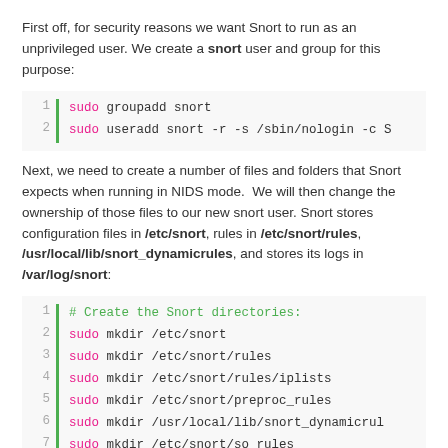First off, for security reasons we want Snort to run as an unprivileged user. We create a snort user and group for this purpose:
[Figure (screenshot): Code block with line numbers and green bar showing: sudo groupadd snort / sudo useradd snort -r -s /sbin/nologin -c S]
Next, we need to create a number of files and folders that Snort expects when running in NIDS mode. We will then change the ownership of those files to our new snort user. Snort stores configuration files in /etc/snort, rules in /etc/snort/rules, /usr/local/lib/snort_dynamicrules, and stores its logs in /var/log/snort:
[Figure (screenshot): Code block with line numbers 1-11 and green bar showing mkdir and touch commands to create Snort directories and files]